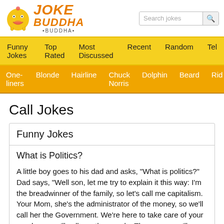[Figure (logo): Joke Buddha website logo with laughing emoji face and orange stylized text reading JOKE BUDDHA]
Search jokes
Funny Jokes  Top Rated  Most Discussed  Recent  Random  Tel
One-liners  Blonde  Hairline  Chuck Norris  Dolphin  Beard  Rid
Call Jokes
Funny Jokes
What is Politics?
A little boy goes to his dad and asks, "What is politics?" Dad says, "Well son, let me try to explain it this way: I'm the breadwinner of the family, so let's call me capitalism. Your Mom, she's the administrator of the money, so we'll call her the Government. We're here to take care of your needs, so we'll call you the people. The nanny, we'll consider her the Working Class. And your baby brother, we'll call him the Future. Now, think about that and see if that makes sense,"